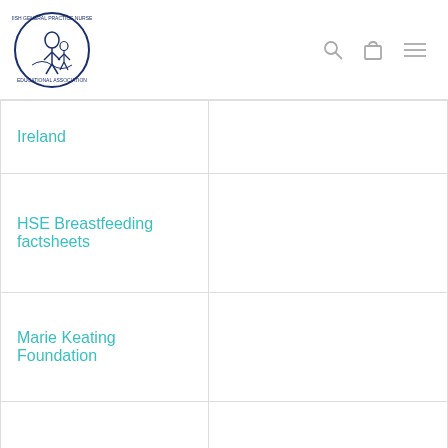Irish General Practice Nurses Educational Association — navigation header
| Organization | Detail |
| --- | --- |
| Ireland |  |
| HSE Breastfeeding factsheets |  |
| Marie Keating Foundation |  |
| Action Breast Cancer |  |
| Ciudiu | Irish Childbirth Trust |
| AkiDwa | supporting |